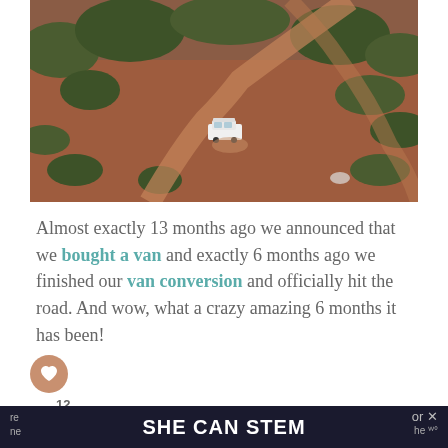[Figure (photo): Aerial drone photo of a white camper van on a red dirt road surrounded by desert scrubland and shrubs]
Almost exactly 13 months ago we announced that we bought a van and exactly 6 months ago we finished our van conversion and officially hit the road. And wow, what a crazy amazing 6 months it has been!
We decided to pursue van life for one main
SHE CAN STEM